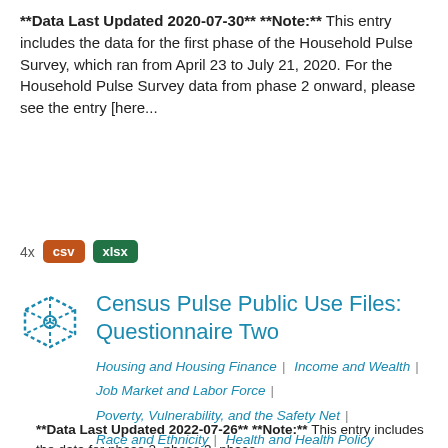**Data Last Updated 2020-07-30** **Note: This entry includes the data for the first phase of the Household Pulse Survey, which ran from April 23 to July 21, 2020. For the Household Pulse Survey data from phase 2 onward, please see the entry [here...
4x csv xlsx
Census Pulse Public Use Files: Questionnaire Two
Housing and Housing Finance | Income and Wealth | Job Market and Labor Force | Poverty, Vulnerability, and the Safety Net | Race and Ethnicity | Health and Health Policy
**Data Last Updated 2022-07-26** **Note:** This entry includes the data for phase 2, phase 3, phase